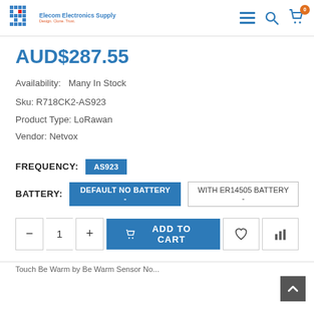Elecom Electronics Supply — Design. Clone. Trust.
AUD$287.55
Availability: Many In Stock
Sku: R718CK2-AS923
Product Type: LoRawan
Vendor: Netvox
FREQUENCY: AS923
BATTERY: DEFAULT NO BATTERY - | WITH ER14505 BATTERY -
1  ADD TO CART